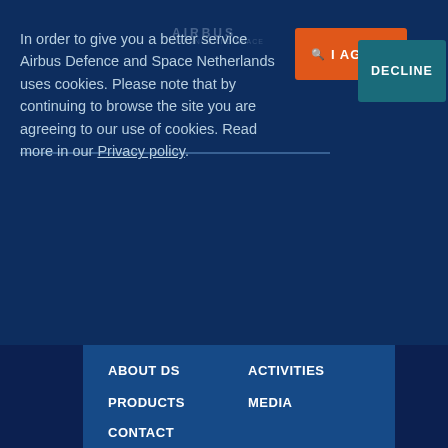In order to give you a better service Airbus Defence and Space Netherlands uses cookies. Please note that by continuing to browse the site you are agreeing to our use of cookies. Read more in our Privacy policy.
ABOUT DS
ACTIVITIES
PRODUCTS
MEDIA
CONTACT